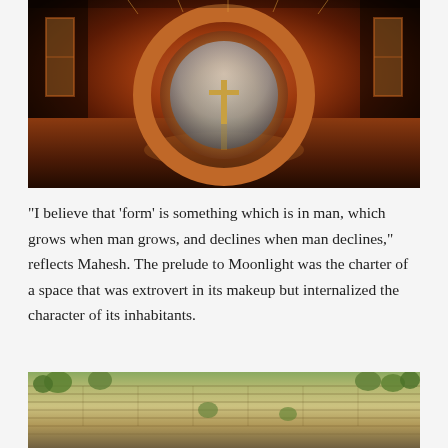[Figure (photo): Interior architectural photo of a building with a large circular arch framing a circular opening, warm orange-brown tones, reflective floor, and side windows with orange light.]
“I believe that ‘form’ is something which is in man, which grows when man grows, and declines when man declines,” reflects Mahesh. The prelude to Moonlight was the charter of a space that was extrovert in its makeup but internalized the character of its inhabitants.
[Figure (photo): Aerial view of terraced agricultural fields with sparse trees and dry earth in warm brown tones.]